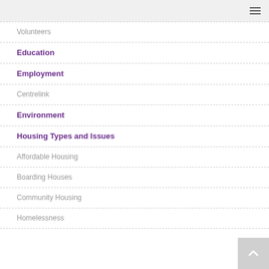Navigation menu header
Volunteers
Education
Employment
Centrelink
Environment
Housing Types and Issues
Affordable Housing
Boarding Houses
Community Housing
Homelessness